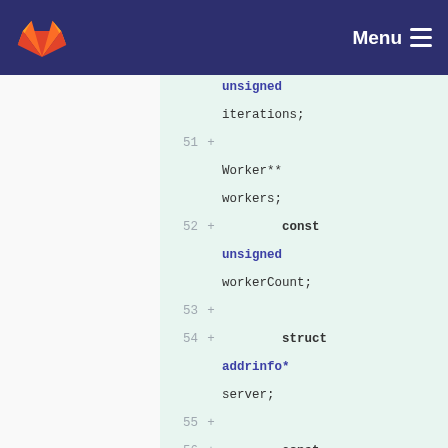GitLab navigation bar with Menu
[Figure (screenshot): GitLab code diff view showing C++ struct member declarations, lines 51-57, added lines highlighted in green. Lines include: unsigned iterations; Worker** workers; const unsigned workerCount; struct addrinfo* server; const unsigned echoSize; static const unsigned DEFAULT_ECHO_SIZE = 32;]